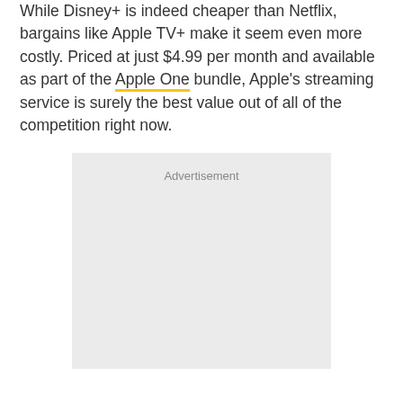While Disney+ is indeed cheaper than Netflix, bargains like Apple TV+ make it seem even more costly. Priced at just $4.99 per month and available as part of the Apple One bundle, Apple's streaming service is surely the best value out of all of the competition right now.
[Figure (other): Advertisement placeholder box with gray background and 'Advertisement' label at the top center]